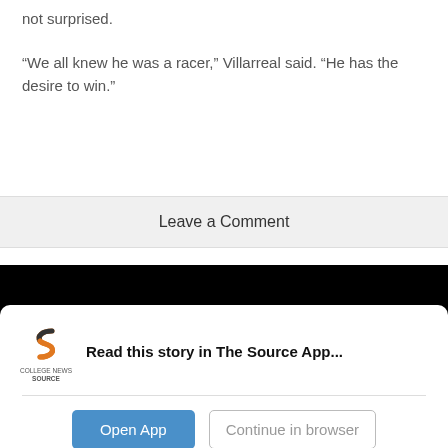not surprised.

“We all knew he was a racer,” Villarreal said. “He has the desire to win.”
Leave a Comment
Donate to Chicago Maroon
Read this story in The Source App...
Open App
Continue in browser